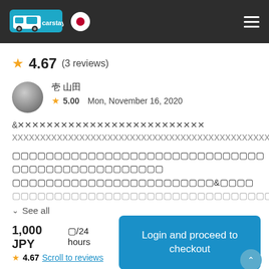[Figure (logo): Carstay logo — teal van icon with 'carstay' text on dark header bar, with Japan flag circle icon and hamburger menu]
4.67 (3 reviews)
〓 〓〓
★ 5.00  Mon, November 16, 2020
〓〓〓〓〓〓〓〓〓〓〓〓〓〓〓〓〓〓〓〓〓〓〓〓〓〓〓〓〓〓〓〓〓〓〓〓〓〓〓〓〓〓〓〓〓〓〓〓〓〓〓〓〓〓〓〓〓〓〓〓〓〓〓〓〓〓〓〓〓〓&〓〓〓〓〓〓〓〓〓〓〓〓〓〓〓〓〓〓〓〓〓〓〓〓〓〓〓〓〓〓〓〓〓〓〓〓〓〓〓〓〓〓〓〓〓〓〓〓〓〓〓〓〓〓〓〓〓〓〓〓〓〓
∨  See all
1,000 JPY 〓/24 hours
★ 4.67 Scroll to reviews
Login and proceed to checkout